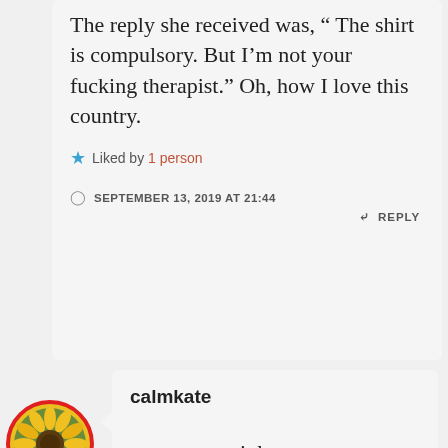The reply she received was, “ The shirt is compulsory. But I’m not your fucking therapist.” Oh, how I love this country.
Liked by 1 person
SEPTEMBER 13, 2019 AT 21:44
REPLY
[Figure (photo): Circular avatar photo of a sunflower with a red border]
calmkate
we can certainly cut